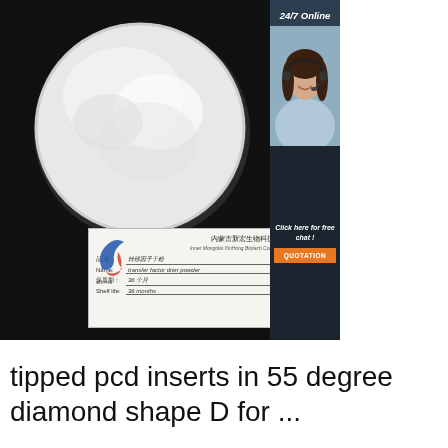[Figure (photo): Product photo: white powder in a circular dish/petri plate on black background, with an Inner Mongolia XinHong Biotech company label card showing product name 'Transfer factor drier powder', shelf life 36 months. Right sidebar shows '24/7 Online' text, a customer service agent photo, 'Click here for free chat!' text and an orange 'QUOTATION' button. Bottom right has an orange 'TOP' badge icon.]
tipped pcd inserts in 55 degree diamond shape D for ...